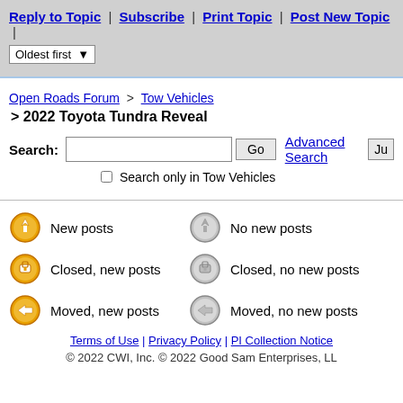Reply to Topic | Subscribe | Print Topic | Post New Topic | Oldest first
Open Roads Forum > Tow Vehicles
> 2022 Toyota Tundra Reveal
Search: [input] Go  Advanced Search  Ju
Search only in Tow Vehicles
New posts
No new posts
Closed, new posts
Closed, no new posts
Moved, new posts
Moved, no new posts
Terms of Use | Privacy Policy | PI Collection Notice
© 2022 CWI, Inc. © 2022 Good Sam Enterprises, LL